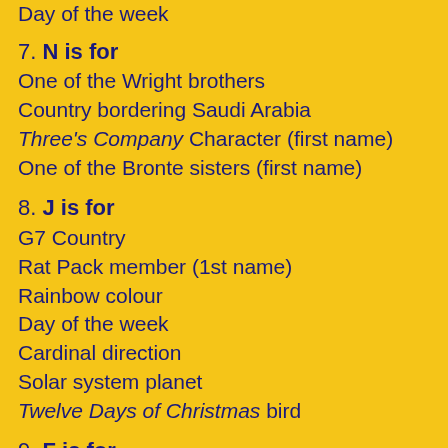Day of the week
7. N is for
One of the Wright brothers
Country bordering Saudi Arabia
Three's Company Character (first name)
One of the Bronte sisters (first name)
8. J is for
G7 Country
Rat Pack member (1st name)
Rainbow colour
Day of the week
Cardinal direction
Solar system planet
Twelve Days of Christmas bird
9. F is for
Solar system planet
Five Alive citrus fruit
Part of Freud psyche
Day of the week
Country bordering Saudi Arabia